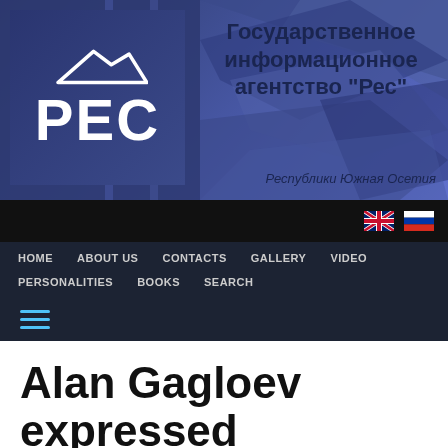[Figure (logo): РЕС logo with mountain graphic and Russian state information agency text: Государственное информационное агентство "Рес" Республики Южная Осетия]
HOME  ABOUT US  CONTACTS  GALLERY  VIDEO  PERSONALITIES  BOOKS  SEARCH
Alan Gagloev expressed condolences to the